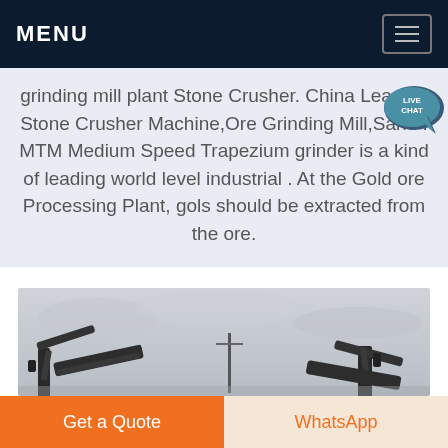MENU
grinding mill plant Stone Crusher. China Leading Stone Crusher Machine,Ore Grinding Mill,Sand . MTM Medium Speed Trapezium grinder is a kind of leading world level industrial . At the Gold ore Processing Plant, gols should be extracted from the ore.
[Figure (photo): Industrial machinery (stone crusher / grinding mill equipment) silhouetted against an overcast sky]
Get a Quote
WhatsApp